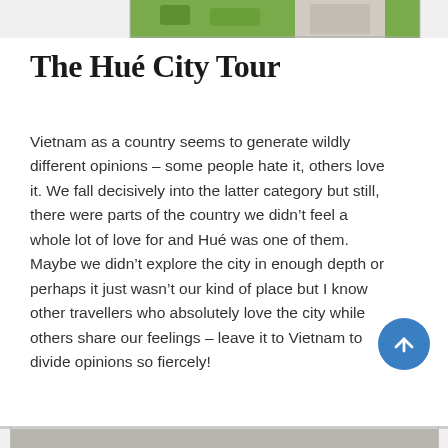[Figure (photo): Top portion of a photo showing grass and a stone or concrete monument/statue in a city or park setting — only the top edge of the image is visible]
The Hué City Tour
Vietnam as a country seems to generate wildly different opinions – some people hate it, others love it. We fall decisively into the latter category but still, there were parts of the country we didn't feel a whole lot of love for and Hué was one of them. Maybe we didn't explore the city in enough depth or perhaps it just wasn't our kind of place but I know other travellers who absolutely love the city while others share our feelings – leave it to Vietnam to divide opinions so fiercely!
[Figure (photo): Bottom edge of a photo — only the very top strip is visible, appears to be a grey/stone surface]